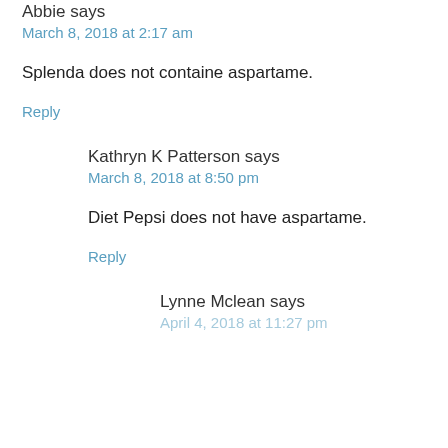Abbie says
March 8, 2018 at 2:17 am
Splenda does not containe aspartame.
Reply
Kathryn K Patterson says
March 8, 2018 at 8:50 pm
Diet Pepsi does not have aspartame.
Reply
Lynne Mclean says
April 4, 2018 at 11:27 pm